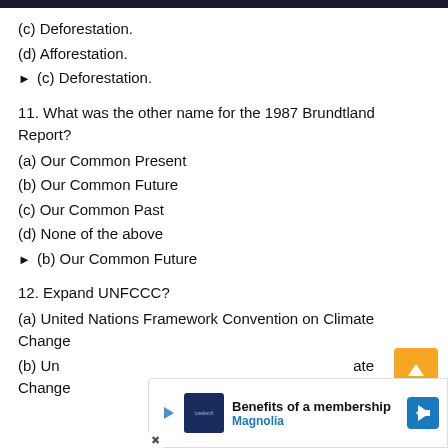(c) Deforestation.
(d) Afforestation.
► (c) Deforestation.
11. What was the other name for the 1987 Brundtland Report?
(a) Our Common Present
(b) Our Common Future
(c) Our Common Past
(d) None of the above
► (b) Our Common Future
12. Expand UNFCCC?
(a) United Nations Framework Convention on Climate Change
(b) United Nations Framework Convention on Climate Change